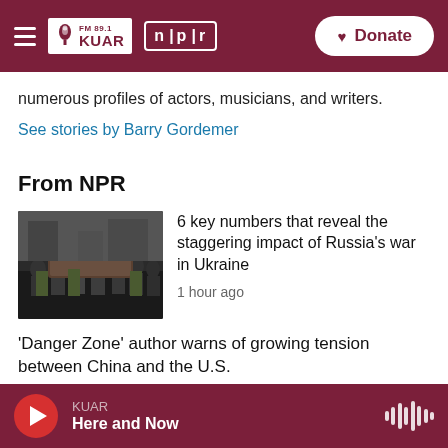FM 89.1 KUAR | npr | Donate
numerous profiles of actors, musicians, and writers.
See stories by Barry Gordemer
From NPR
[Figure (photo): People in military uniforms carrying a casket at a somber outdoor gathering, crowd of people in background.]
6 key numbers that reveal the staggering impact of Russia's war in Ukraine
1 hour ago
'Danger Zone' author warns of growing tension between China and the U.S.
KUAR | Here and Now